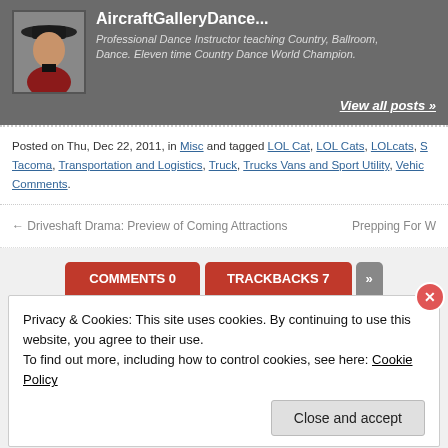[Figure (photo): Profile photo of dance instructor wearing red top and cowboy hat]
Professional Dance Instructor teaching Country, Ballroom, Dance. Eleven time Country Dance World Champion.
View all posts »
Posted on Thu, Dec 22, 2011, in Misc and tagged LOL Cat, LOL Cats, LOLcats, Tacoma, Transportation and Logistics, Truck, Trucks Vans and Sport Utility, Vehicles. Comments.
← Driveshaft Drama: Preview of Coming Attractions
Prepping For W
COMMENTS 0  TRACKBACKS 7
Privacy & Cookies: This site uses cookies. By continuing to use this website, you agree to their use.
To find out more, including how to control cookies, see here: Cookie Policy
Close and accept